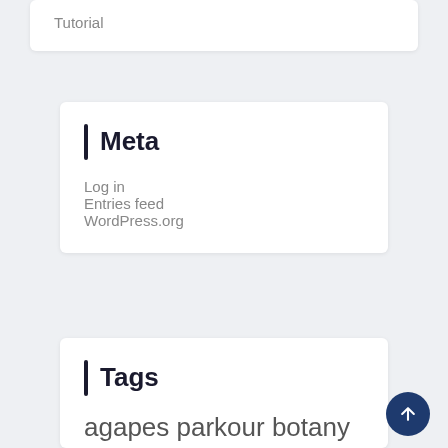Tutorial
Meta
Log in
Entries feed
WordPress.org
Tags
agapes parkour botany alchemy catalyst botania